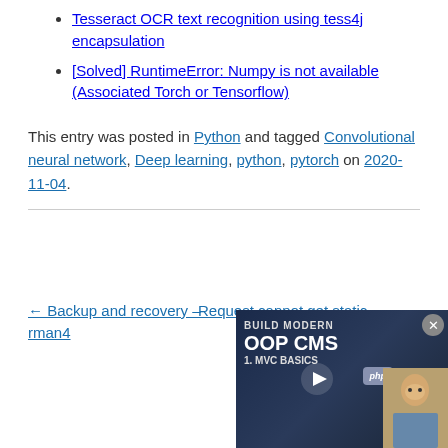Tesseract OCR text recognition using tess4j encapsulation
[Solved] RuntimeError: Numpy is not available (Associated Torch or Tensorflow)
This entry was posted in Python and tagged Convolutional neural network, Deep learning, python, pytorch on 2020-11-04.
← Backup and recovery – rman4
Request cannot get static
[Figure (screenshot): Video widget showing 'BUILD MODERN OOP CMS 1. MVC BASICS' with PHP badge and play button, with a person visible]